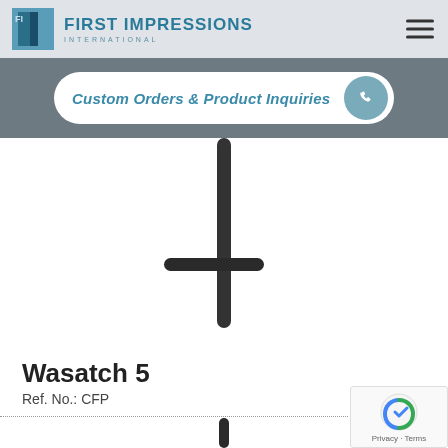First Impressions International
Custom Orders & Product Inquiries
[Figure (photo): A black T-bar door pull handle (Wasatch 5) shown vertically with a side arm extending to the left, photographed on white background]
Wasatch 5
Ref. No.: CFP
[Figure (photo): Partial view of another black cylindrical door pull handle at the bottom of the page]